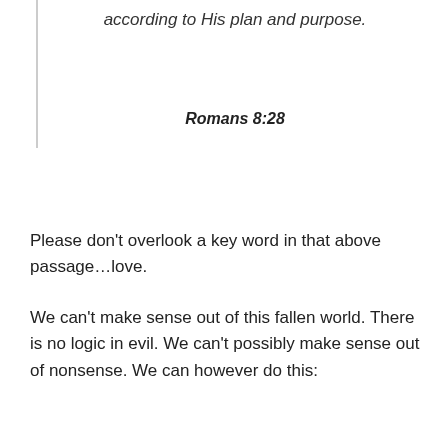according to His plan and purpose.
Romans 8:28
Please don't overlook a key word in that above passage…love.
We can't make sense out of this fallen world. There is no logic in evil. We can't possibly make sense out of nonsense. We can however do this: